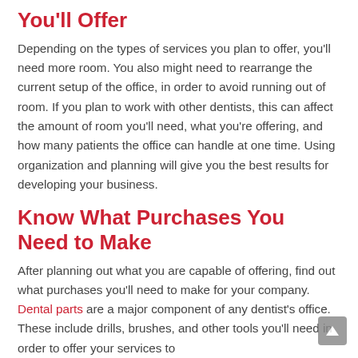You'll Offer
Depending on the types of services you plan to offer, you'll need more room. You also might need to rearrange the current setup of the office, in order to avoid running out of room. If you plan to work with other dentists, this can affect the amount of room you'll need, what you're offering, and how many patients the office can handle at one time. Using organization and planning will give you the best results for developing your business.
Know What Purchases You Need to Make
After planning out what you are capable of offering, find out what purchases you'll need to make for your company. Dental parts are a major component of any dentist's office. These include drills, brushes, and other tools you'll need in order to offer your services to